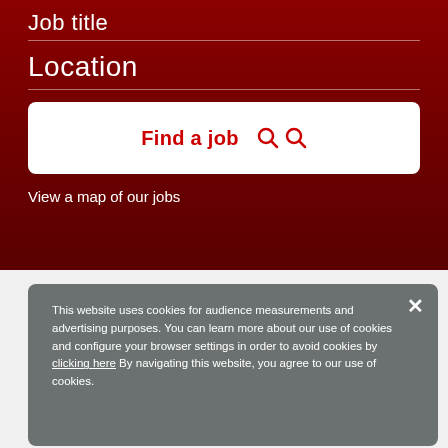Job title
Location
Find a job
View a map of our jobs
This website uses cookies for audience measurements and advertising purposes. You can learn more about our use of cookies and configure your browser settings in order to avoid cookies by clicking here By navigating this website, you agree to our use of cookies.